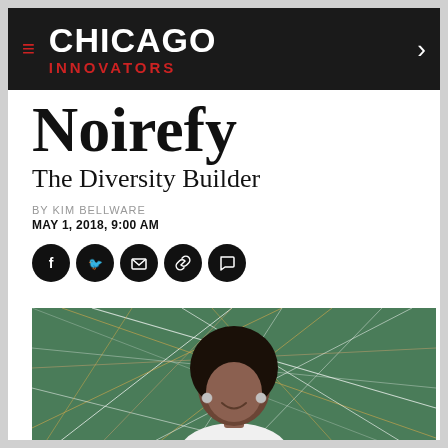CHICAGO INNOVATORS
Noirefy
The Diversity Builder
BY KIM BELLWARE
MAY 1, 2018, 9:00 AM
[Figure (photo): Social media sharing icons: Facebook, Twitter, Email, Link, Comment]
[Figure (photo): Photo of a woman with natural curly hair wearing a white top, smiling against a green background with colorful intersecting network lines]